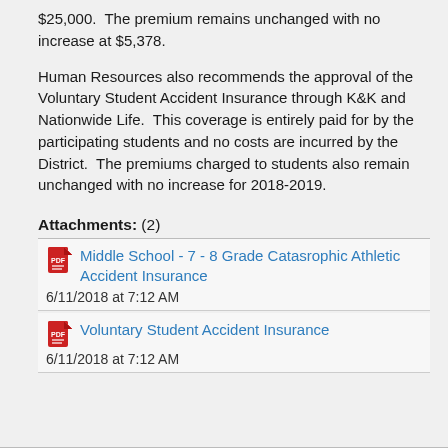$25,000.  The premium remains unchanged with no increase at $5,378.
Human Resources also recommends the approval of the Voluntary Student Accident Insurance through K&K and Nationwide Life.  This coverage is entirely paid for by the participating students and no costs are incurred by the District.  The premiums charged to students also remain unchanged with no increase for 2018-2019.
Attachments: (2)
Middle School - 7 - 8 Grade Catasrophic Athletic Accident Insurance
6/11/2018 at 7:12 AM
Voluntary Student Accident Insurance
6/11/2018 at 7:12 AM